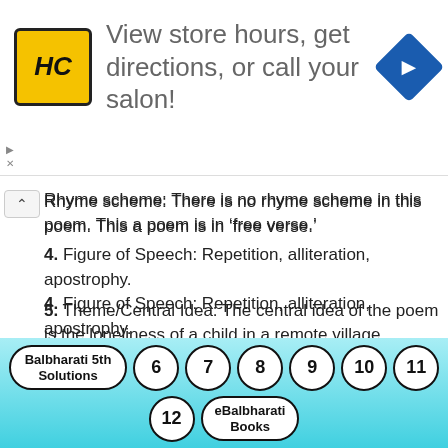[Figure (other): Advertisement banner: HC logo (yellow square with HC), text 'View store hours, get directions, or call your salon!' and blue navigation diamond icon]
Rhyme scheme: There is no rhyme scheme in this poem. This a poem is in ‘free verse.’
4. Figure of Speech: Repetition, alliteration, apostrophy.
5. Theme/Central Idea: The central idea of the poem is the loneliness of a child in a remote village untouched by modern amenities.
6. The child is too far from the modern urban life that even his remedy for the plight of his
Balbharati 5th Solutions  6  7  8  9  10  11  12  eBalbharati Books